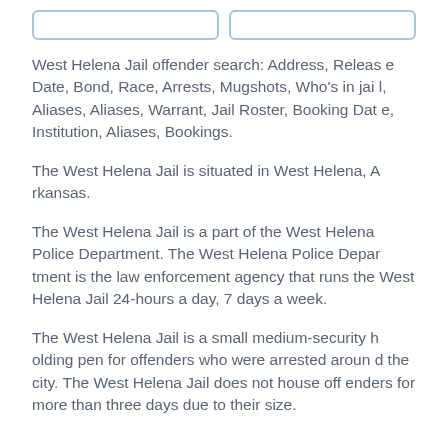West Helena Jail offender search: Address, Release Date, Bond, Race, Arrests, Mugshots, Who's in jail, Aliases, Aliases, Warrant, Jail Roster, Booking Date, Institution, Aliases, Bookings.
The West Helena Jail is situated in West Helena, Arkansas.
The West Helena Jail is a part of the West Helena Police Department. The West Helena Police Department is the law enforcement agency that runs the West Helena Jail 24-hours a day, 7 days a week.
The West Helena Jail is a small medium-security holding pen for offenders who were arrested around the city. The West Helena Jail does not house offenders for more than three days due to their size.